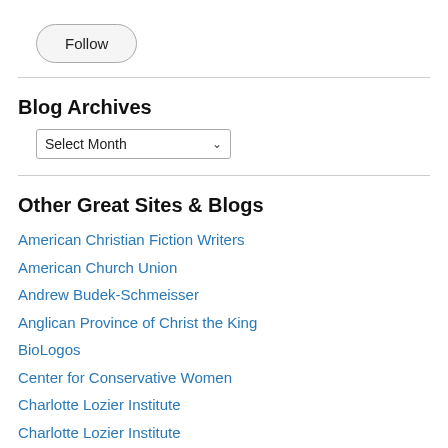[Figure (other): Follow button with rounded rectangle border]
Blog Archives
[Figure (other): Select Month dropdown widget]
Other Great Sites & Blogs
American Christian Fiction Writers
American Church Union
Andrew Budek-Schmeisser
Anglican Province of Christ the King
BioLogos
Center for Conservative Women
Charlotte Lozier Institute
Charlotte Lozier Institute
David Virtue News